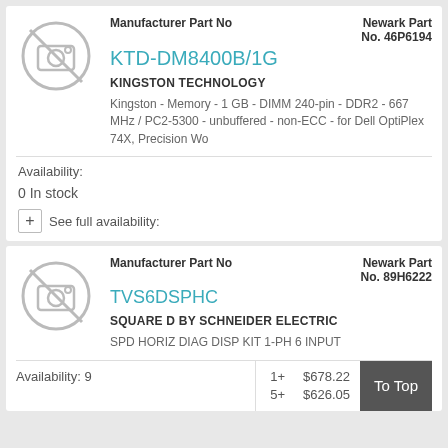Manufacturer Part No
KTD-DM8400B/1G
Newark Part No. 46P6194
KINGSTON TECHNOLOGY
Kingston - Memory - 1 GB - DIMM 240-pin - DDR2 - 667 MHz / PC2-5300 - unbuffered - non-ECC - for Dell OptiPlex 74X, Precision Wo
Availability:
0 In stock
+ See full availability:
Manufacturer Part No
TVS6DSPHC
Newark Part No. 89H6222
SQUARE D BY SCHNEIDER ELECTRIC
SPD HORIZ DIAG DISP KIT 1-PH 6 INPUT
Availability: 9
1+   $678.22
5+   $626.05
To Top